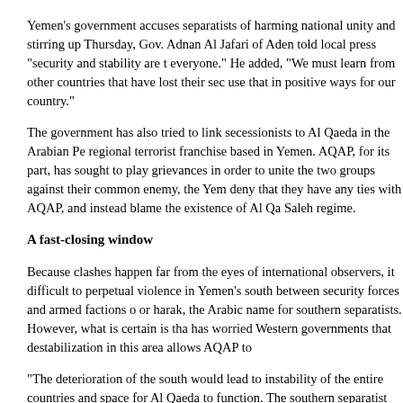Yemen's government accuses separatists of harming national unity and stirring up Thursday, Gov. Adnan Al Jafari of Aden told local press "security and stability are t everyone." He added, "We must learn from other countries that have lost their sec use that in positive ways for our country."
The government has also tried to link secessionists to Al Qaeda in the Arabian Pe regional terrorist franchise based in Yemen. AQAP, for its part, has sought to play grievances in order to unite the two groups against their common enemy, the Yem deny that they have any ties with AQAP, and instead blame the existence of Al Qa Saleh regime.
A fast-closing window
Because clashes happen far from the eyes of international observers, it difficult to perpetual violence in Yemen's south between security forces and armed factions o or harak, the Arabic name for southern separatists. However, what is certain is tha has worried Western governments that destabilization in this area allows AQAP to
“The deterioration of the south would lead to instability of the entire countries and space for Al Qaeda to function. The southern separatist movement is not allied to A absence of state control gives Al Qaeda space to exist in areas that are controlled independent Yemeni political analyst Abdul-Ghani Al Iryani.